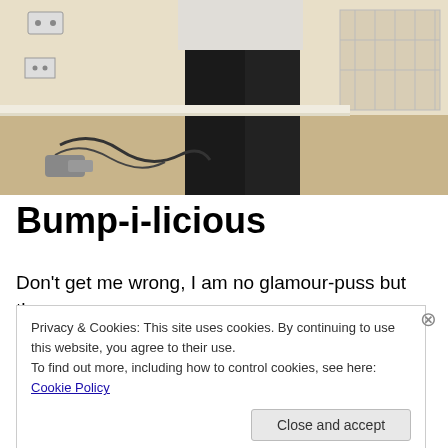[Figure (photo): A person standing in a room wearing dark leggings/jeans and a light top, with cables and a radiator visible in the background on a carpeted floor.]
Bump-i-licious
Don't get me wrong, I am no glamour-puss but there was
Privacy & Cookies: This site uses cookies. By continuing to use this website, you agree to their use.
To find out more, including how to control cookies, see here: Cookie Policy
Close and accept